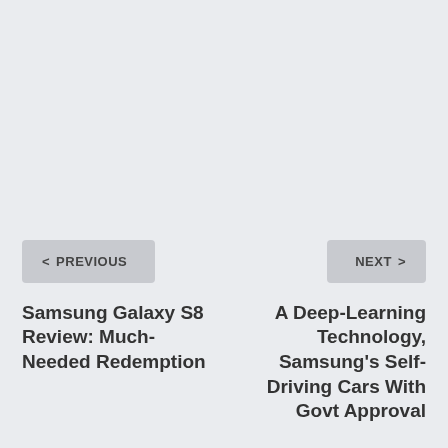< PREVIOUS
NEXT >
Samsung Galaxy S8 Review: Much-Needed Redemption
A Deep-Learning Technology, Samsung's Self-Driving Cars With Govt Approval